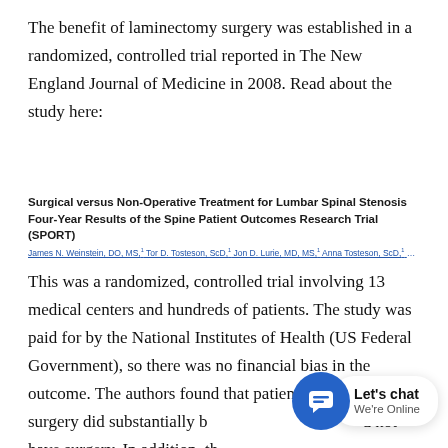The benefit of laminectomy surgery was established in a randomized, controlled trial reported in The New England Journal of Medicine in 2008. Read about the study here:
Surgical versus Non-Operative Treatment for Lumbar Spinal Stenosis Four-Year Results of the Spine Patient Outcomes Research Trial (SPORT)
James N. Weinstein, DO, MS,1 Tor D. Tosteson, ScD,1 Jon D. Lurie, MD, MS,1 Anna Tosteson, ScD,1 Emily Blood,
This was a randomized, controlled trial involving 13 medical centers and hundreds of patients. The study was paid for by the National Institutes of Health (US Federal Government), so there was no financial bias in the outcome. The authors found that patients who had surgery did substantially b[etter than those who did] not have surgery. In addition, th[e study was difficult to] conduct because so many patients randomized to
[Figure (other): Live chat widget overlay showing a blue circular chat button icon and a white popup card with 'Let's chat' title and 'We're Online' subtitle]